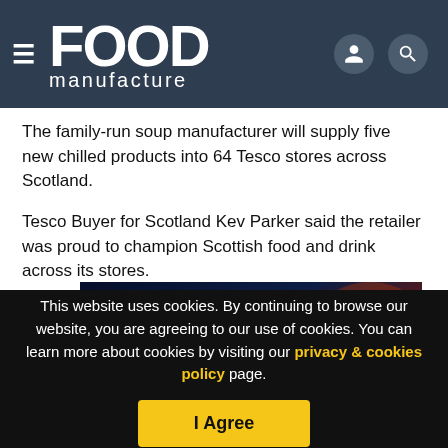FOOD manufacture
The family-run soup manufacturer will supply five new chilled products into 64 Tesco stores across Scotland.
Tesco Buyer for Scotland Kev Parker said the retailer was proud to champion Scottish food and drink across its stores.
[Figure (illustration): Recognising Excellence banner ad with dark blue and orange fiery background, featuring bold white serif text 'Recognising Excellence' and an orange chevron/arrow logo mark below.]
This website uses cookies. By continuing to browse our website, you are agreeing to our use of cookies. You can learn more about cookies by visiting our privacy & cookies policy page.